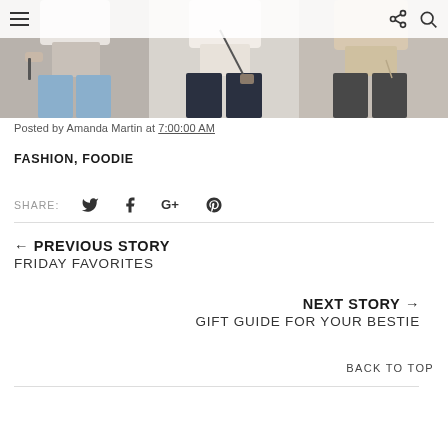[Figure (photo): Three cropped fashion photos showing models wearing knitwear sweaters with jeans/pants, displayed in a horizontal strip at top of page]
Posted by Amanda Martin at 7:00:00 AM
FASHION, FOODIE
SHARE:
← PREVIOUS STORY
FRIDAY FAVORITES
NEXT STORY →
GIFT GUIDE FOR YOUR BESTIE
BACK TO TOP